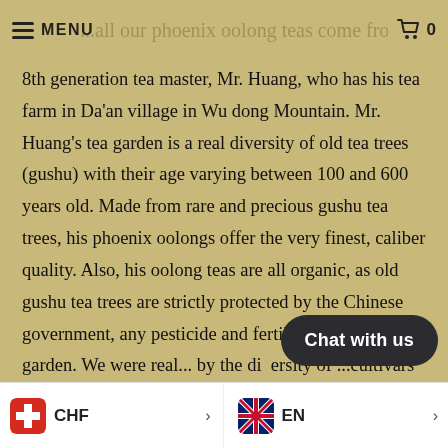MENU  ...all our phoenix oolong teas come from the  0
8th generation tea master, Mr. Huang, who has his tea farm in Da'an village in Wu dong Mountain. Mr. Huang's tea garden is a real diversity of old tea trees (gushu) with their age varying between 100 and 600 years old. Made from rare and precious gushu tea trees, his phoenix oolongs offer the very finest, caliber quality. Also, his oolong teas are all organic, as old gushu tea trees are strictly protected by the Chinese government, any pesticide and fertiliser is p... his tea garden. We were real... by the diversity of ...cultivars in their tea
CHF  >    EN  >